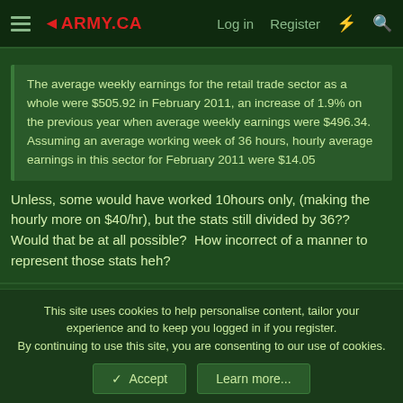4ARMY.CA  Log in  Register
The average weekly earnings for the retail trade sector as a whole were $505.92 in February 2011, an increase of 1.9% on the previous year when average weekly earnings were $496.34. Assuming an average working week of 36 hours, hourly average earnings in this sector for February 2011 were $14.05
Unless, some would have worked 10hours only, (making the hourly more on $40/hr), but the stats still divided by 36??  Would that be at all possible?  How incorrect of a manner to represent those stats heh?
Rocknroll
Guest
This site uses cookies to help personalise content, tailor your experience and to keep you logged in if you register.
By continuing to use this site, you are consenting to our use of cookies.